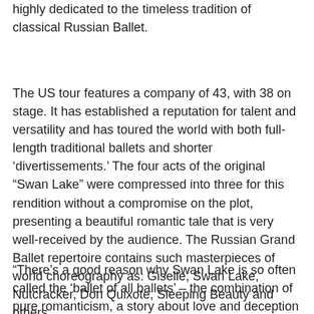highly dedicated to the timeless tradition of classical Russian Ballet.
The US tour features a company of 43, with 38 on stage. It has established a reputation for talent and versatility and has toured the world with both full-length traditional ballets and shorter 'divertissements.' The four acts of the original "Swan Lake" were compressed into three for this rendition without a compromise on the plot, presenting a beautiful romantic tale that is very well-received by the audience. The Russian Grand Ballet repertoire contains such masterpieces of world choreography as: Giselle, Swan Lake, Nutcracker, Don Quixote, Sleeping Beauty and others.
“There’s a good reason why Swan Lake is so often called the ‘ballet of all ballets’ – the combination of pure romanticism, a story about love and deception and Tchaikovsky’s famous music continue to reach new generations of